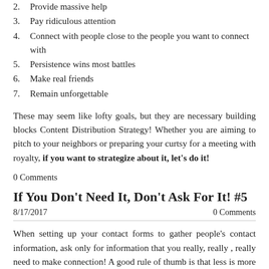2. Provide massive help
3. Pay ridiculous attention
4. Connect with people close to the people you want to connect with
5. Persistence wins most battles
6. Make real friends
7. Remain unforgettable
These may seem like lofty goals, but they are necessary building blocks Content Distribution Strategy! Whether you are aiming to pitch to your neighbors or preparing your curtsy for a meeting with royalty, if you want to strategize about it, let’s do it!
0 Comments
If You Don’t Need It, Don’t Ask For It! #5
8/17/2017
0 Comments
When setting up your contact forms to gather people's contact information, ask only for information that you really, really , really need to make connection! A good rule of thumb is that less is more — the shorter the sign-up form, the higher the chances someone will fill it